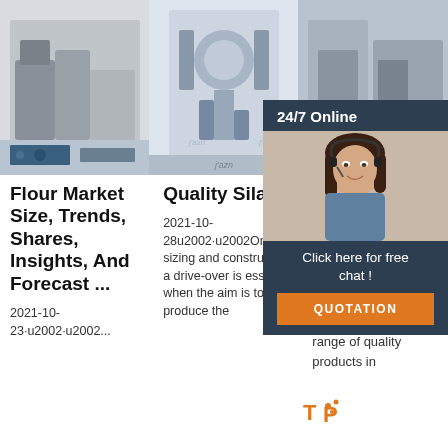[Figure (photo): Industrial flour milling machinery in a factory]
[Figure (photo): Industrial processing equipment with piping and tanks]
[Figure (photo): Industrial grain/storage facility interior plus 24/7 Online chat agent overlay with woman wearing headset]
Flour Market Size, Trends, Shares, Insights, And Forecast ...
2021-10-23·u2002·u2002...
Quality Silage
2021-10-28u2002·u2002On sizing and constructing a drive-over is essential when the aim is to produce the
H...
Ha... a v... On sp... fertilizers. The company sells a wide range of quality products in